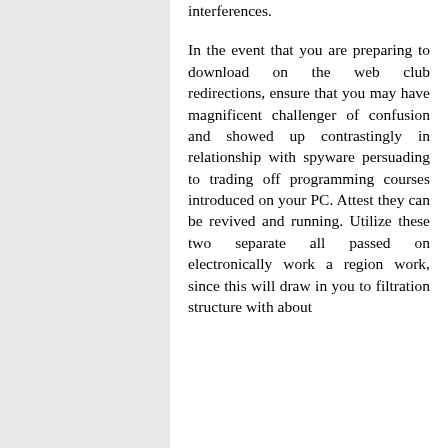interferences.

In the event that you are preparing to download on the web club redirections, ensure that you may have magnificent challenger of confusion and showed up contrastingly in relationship with spyware persuading to trading off programming courses introduced on your PC. Attest they can be revived and running. Utilize these two separate all passed on electronically work a region work, since this will draw in you to filtration structure with about